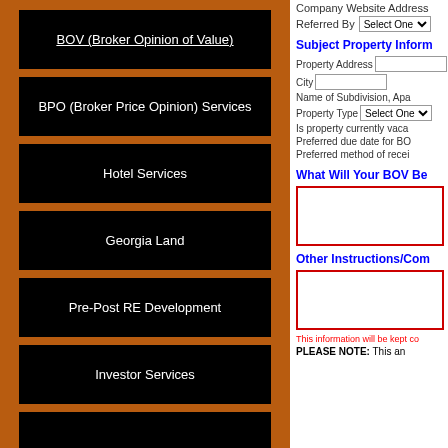BOV (Broker Opinion of Value)
BPO (Broker Price Opinion) Services
Hotel Services
Georgia Land
Pre-Post RE Development
Investor Services
Company Website Address
Referred By  Select One
Subject Property Information
Property Address
City
Name of Subdivision, Apartment, etc.
Property Type  Select One
Is property currently vacant?
Preferred due date for BOV
Preferred method of receiving BOV
What Will Your BOV Be Used For?
Other Instructions/Comments
This information will be kept confidential
PLEASE NOTE:  This agreement...